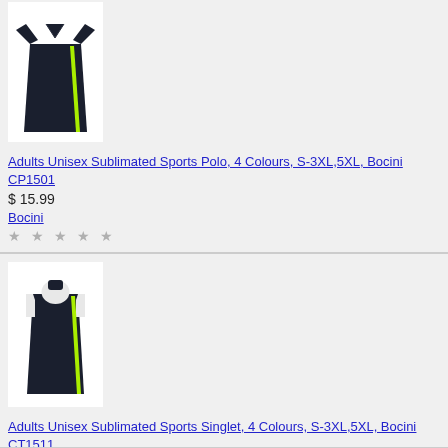[Figure (photo): Dark navy/black sports polo shirt with green accent stripe, displayed on white background]
Adults Unisex Sublimated Sports Polo, 4 Colours, S-3XL,5XL, Bocini CP1501
$ 15.99
Bocini
* * * * *
[Figure (photo): Dark navy/black sleeveless sports singlet/vest with green accent stripe, displayed on white background]
Adults Unisex Sublimated Sports Singlet, 4 Colours, S-3XL,5XL, Bocini CT1511
$ 11.99
Bocini
* * * * *